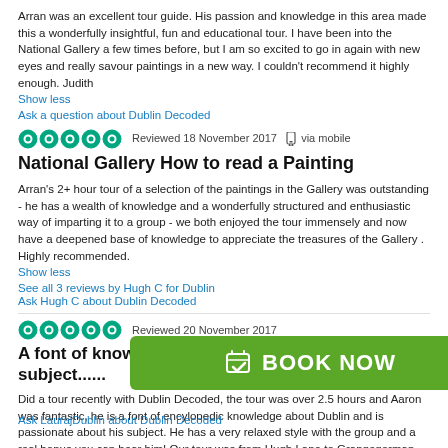Arran was an excellent tour guide. His passion and knowledge in this area made this a wonderfully insightful, fun and educational tour. I have been into the National Gallery a few times before, but I am so excited to go in again with new eyes and really savour paintings in a new way. I couldn't recommend it highly enough. Judith
Show less
Ask a question about Dublin Decoded
[Figure (other): Five green circle TripAdvisor star rating icons]
Reviewed 18 November 2017  via mobile
National Gallery How to read a Painting
Arran's 2+ hour tour of a selection of the paintings in the Gallery was outstanding - he has a wealth of knowledge and a wonderfully structured and enthusiastic way of imparting it to a group - we both enjoyed the tour immensely and now have a deepened base of knowledge to appreciate the treasures of the Gallery . Highly recommended.
Show less
See all 3 reviews by Hugh C for Dublin
Ask Hugh C about Dublin Decoded
[Figure (other): Five green circle TripAdvisor star rating icons]
Reviewed 20 November 2017
A font of knowledge and passionate about his subject......
Did a tour recently with Dublin Decoded, the tour was over 2.5 hours and Aaron was fantastic, he is a font of encylopedic knowledge about Dublin and is passionate about his subject. He has a very relaxed style with the group and a real bonus you can hear him! Our tour was from Hugh Lane to Grangegorman and I learnt a lot, even though I live in Dublin a lot of it was new to me. I would definately recommend his tours, you will get a lot of insight you won't get with other tours [text continues] u'll be fine, it's ire...
Show less
Ask LaurajDublin about Dublin Decoded
[Figure (other): Green BOOK NOW button with calendar checkmark icon]